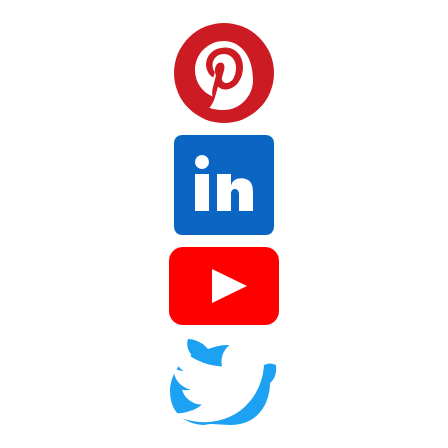[Figure (logo): Pinterest logo: red circle with white stylized 'p' pin icon]
[Figure (logo): LinkedIn logo: blue rounded square with white 'in' text]
[Figure (logo): YouTube logo: red rounded rectangle with white play triangle button]
[Figure (logo): Twitter logo: blue bird silhouette]